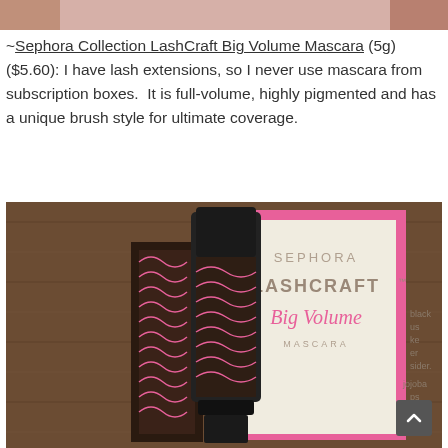[Figure (photo): Partial photo at top of page, showing a skin/finger close-up with pink tones]
~Sephora Collection LashCraft Big Volume Mascara (5g) ($5.60): I have lash extensions, so I never use mascara from subscription boxes. It is full-volume, highly pigmented and has a unique brush style for ultimate coverage.
[Figure (photo): Photo of Sephora Collection LashCraft Big Volume Mascara product with box on wooden surface]